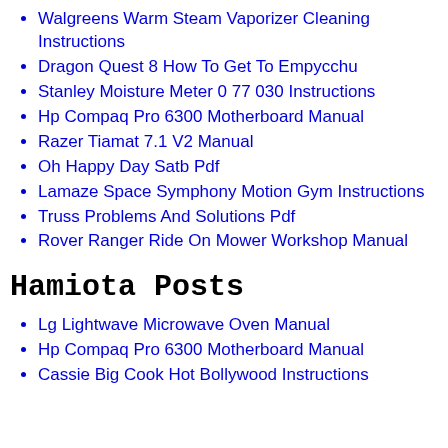Walgreens Warm Steam Vaporizer Cleaning Instructions
Dragon Quest 8 How To Get To Empycchu
Stanley Moisture Meter 0 77 030 Instructions
Hp Compaq Pro 6300 Motherboard Manual
Razer Tiamat 7.1 V2 Manual
Oh Happy Day Satb Pdf
Lamaze Space Symphony Motion Gym Instructions
Truss Problems And Solutions Pdf
Rover Ranger Ride On Mower Workshop Manual
Hamiota Posts
Lg Lightwave Microwave Oven Manual
Hp Compaq Pro 6300 Motherboard Manual
Cassie Big Cook Hot Bollywood Instructions